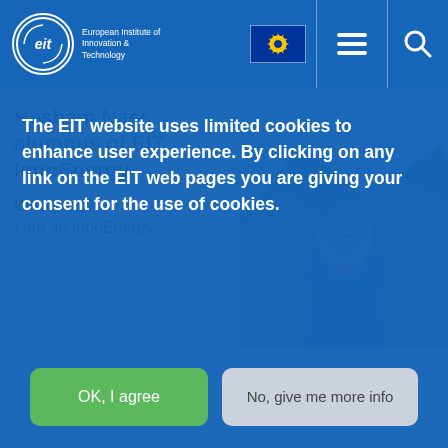EIT – European Institute of Innovation & Technology
Hesham Nasr, alumnus of EIT InnoEnergy
Who am I?
I am an InnoEnergy
[Figure (photo): Portrait photo of Hesham Nasr outdoors with green hills in background]
The EIT website uses limited cookies to enhance user experience. By clicking on any link on the EIT web pages you are giving your consent for the use of cookies.
OK, I agree
No, give me more info